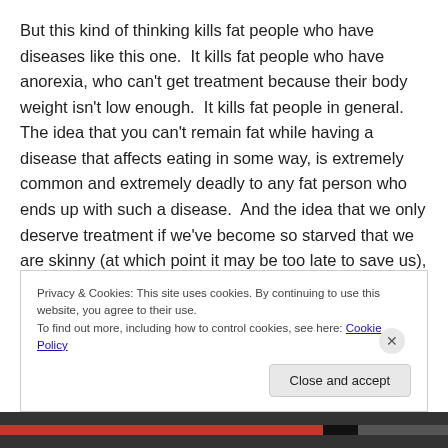But this kind of thinking kills fat people who have diseases like this one.  It kills fat people who have anorexia, who can't get treatment because their body weight isn't low enough.  It kills fat people in general.  The idea that you can't remain fat while having a disease that affects eating in some way, is extremely common and extremely deadly to any fat person who ends up with such a disease.  And the idea that we only deserve treatment if we've become so starved that we are skinny (at which point it may be too late to save us), kills us as well.  Every.  Single.  Day.
Privacy & Cookies: This site uses cookies. By continuing to use this website, you agree to their use.
To find out more, including how to control cookies, see here: Cookie Policy